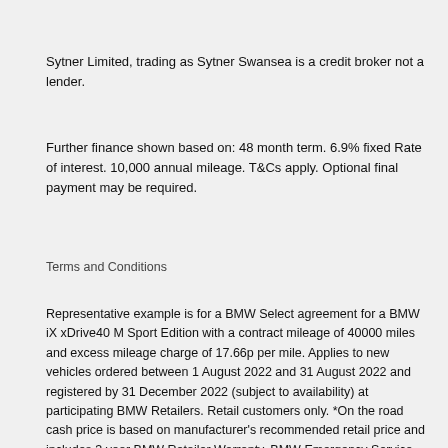Sytner Limited, trading as Sytner Swansea is a credit broker not a lender.
Further finance shown based on: 48 month term. 6.9% fixed Rate of interest. 10,000 annual mileage. T&Cs apply. Optional final payment may be required.
Terms and Conditions
Representative example is for a BMW Select agreement for a BMW iX xDrive40 M Sport Edition with a contract mileage of 40000 miles and excess mileage charge of 17.66p per mile. Applies to new vehicles ordered between 1 August 2022 and 31 August 2022 and registered by 31 December 2022 (subject to availability) at participating BMW Retailers. Retail customers only. *On the road cash price is based on manufacturer's recommended retail price and includes 3 year BMW Retailer Warranty, BMW Emergency Service, 12 months' road fund licence, vehicle first registration fee, delivery, number plates and VAT. ^Optional final payment and option to purchase fee not payable if you opt to return the vehicle at the end of the